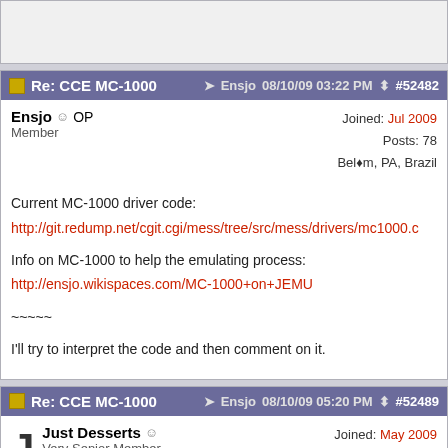Re: CCE MC-1000  Ensjo  08/10/09 03:22 PM  #52482
Ensjo OP
Member
Joined: Jul 2009
Posts: 78
Belém, PA, Brazil

Current MC-1000 driver code:
http://git.redump.net/cgit.cgi/mess/tree/src/mess/drivers/mc1000.c

Info on MC-1000 to help the emulating process:
http://ensjo.wikispaces.com/MC-1000+on+JEMU

~~~~~

I'll try to interpret the code and then comment on it.
Re: CCE MC-1000  Ensjo  08/10/09 05:20 PM  #52489
Just Desserts
Very Senior Member
Joined: May 2009
Posts: 2,050
Likes: 85